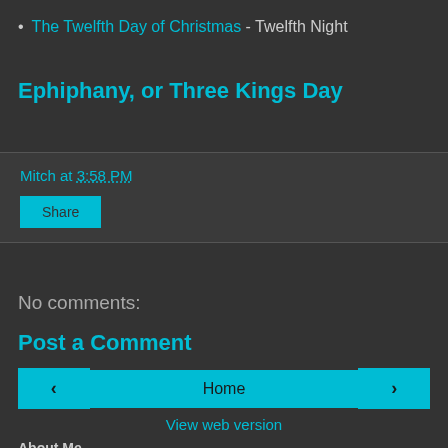The Twelfth Day of Christmas - Twelfth Night
Ephiphany, or Three Kings Day
Mitch at 3:58 PM
Share
No comments:
Post a Comment
‹ Home › View web version
About Me